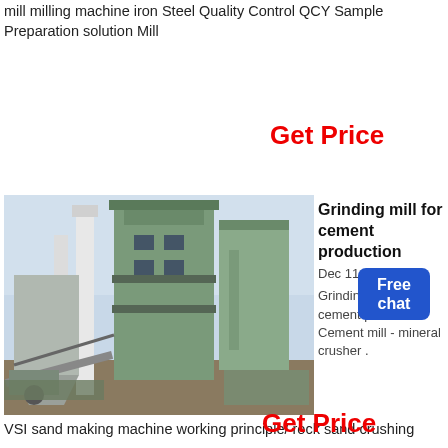mill milling machine iron Steel Quality Control QCY Sample Preparation solution Mill
Get Price
[Figure (photo): Industrial grinding mill / cement plant equipment showing tall green silos and white pipes against a hazy sky, with construction equipment in the foreground]
Grinding mill for cement production
Dec 11, 2016 Grinding mill for cement production Cement mill - mineral crusher .
VSI sand making machine working principle/ rock sand crushing
Get Price